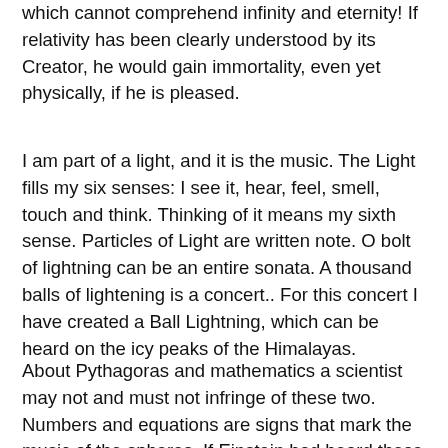which cannot comprehend infinity and eternity! If relativity has been clearly understood by its Creator, he would gain immortality, even yet physically, if he is pleased.
I am part of a light, and it is the music. The Light fills my six senses: I see it, hear, feel, smell, touch and think. Thinking of it means my sixth sense. Particles of Light are written note. O bolt of lightning can be an entire sonata. A thousand balls of lightening is a concert.. For this concert I have created a Ball Lightning, which can be heard on the icy peaks of the Himalayas.
About Pythagoras and mathematics a scientist may not and must not infringe of these two. Numbers and equations are signs that mark the music of the spheres. If Einstein had heard these sounds, he would not create theories of relativity. These sounds are the messages to the mind that life has meaning, that